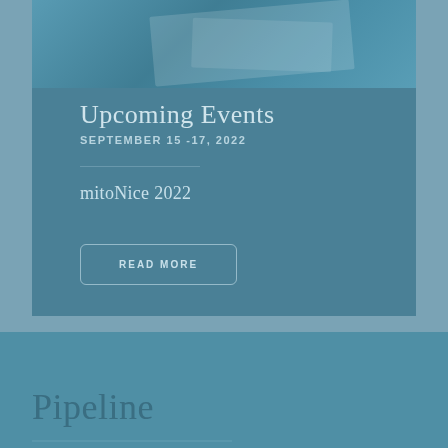[Figure (photo): Photo of documents/papers on a desk, teal blue overlay]
Upcoming Events
SEPTEMBER 15 -17, 2022
mitoNice 2022
READ MORE
Pipeline